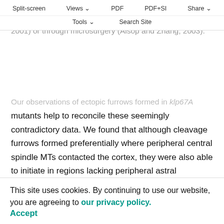mutation – for example asterless (Bonaccorsi et al., 1998; Giansanti et al., 2001) and centrosomin (Megraw et al., 2001) or through microsurgery (Alsop and Zhang, 2003).
Split-screen | Views | PDF | PDF+SI | Share | Tools | Search Site
Our observations of ectopic furrows formed in klp67A mutants help to reconcile these seemingly contradictory data. We found that although cleavage furrows formed preferentially where peripheral central spindle MTs contacted the cortex, they were also able to initiate in regions lacking peripheral astral microtubules, but only when the interior central spindles became closely apposed to the cortex. Consistent with this finding, analyses of fixed preparations of aster-lacking spermatocytes revealed central spindle-like microtubule bundles adjacent to the cell
This site uses cookies. By continuing to use our website, you are agreeing to our privacy policy. Accept
observations indicate that the interior central spindle is able to transmit a signal